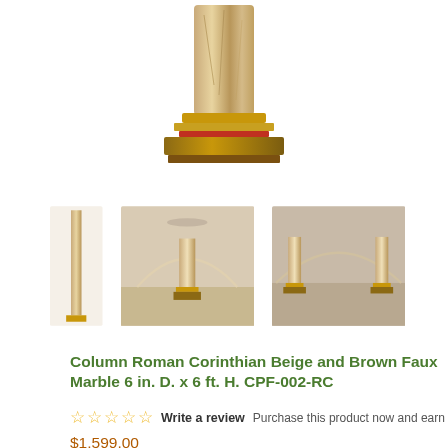[Figure (photo): Main product image of a Roman Corinthian column with beige and brown faux marble finish, showing the capital and base]
[Figure (photo): Three thumbnail images: left is a full-length slim view of the column; center and right show the columns installed in a room setting with arched ceiling]
Column Roman Corinthian Beige and Brown Faux Marble 6 in. D. x 6 ft. H. CPF-002-RC
☆☆☆☆☆ Write a review  Purchase this product now and earn 15,990 Points!
$1,599.00
Measurements: 6 in. Diameter, 6 ft. Height
Style: Roman Corinthian
Shaft Finish: Beige and brown faux marble
Capital Finishes: 1- Antique Bronze, 2- Ivy & Silver, 3- Olympic Gold